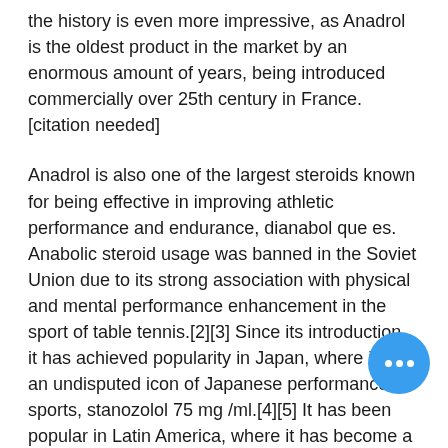the history is even more impressive, as Anadrol is the oldest product in the market by an enormous amount of years, being introduced commercially over 25th century in France.[citation needed]
Anadrol is also one of the largest steroids known for being effective in improving athletic performance and endurance, dianabol que es. Anabolic steroid usage was banned in the Soviet Union due to its strong association with physical and mental performance enhancement in the sport of table tennis.[2][3] Since its introduction, it has achieved popularity in Japan, where it is an undisputed icon of Japanese performance sports, stanozolol 75 mg /ml.[4][5] It has been popular in Latin America, where it has become a staple in many sports, trenbolone supplement. Other countries where it has grown popularity include the United States, South America, and